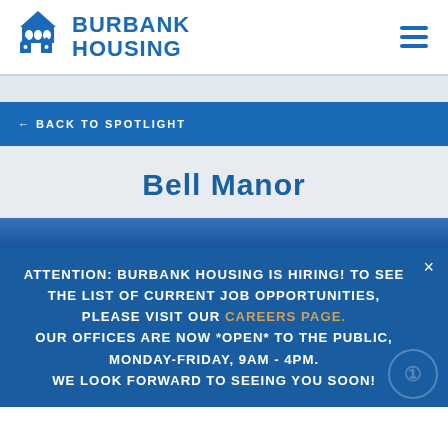Burbank Housing
← BACK TO SPOTLIGHT
Bell Manor
[Figure (photo): Blue-tinted photo banner of Bell Manor property]
ATTENTION: BURBANK HOUSING IS HIRING! TO SEE THE LIST OF CURRENT JOB OPPORTUNITIES, PLEASE VISIT OUR CAREERS PAGE.
OUR OFFICES ARE NOW *OPEN* TO THE PUBLIC, MONDAY-FRIDAY, 9AM - 4PM.
WE LOOK FORWARD TO SEEING YOU SOON!